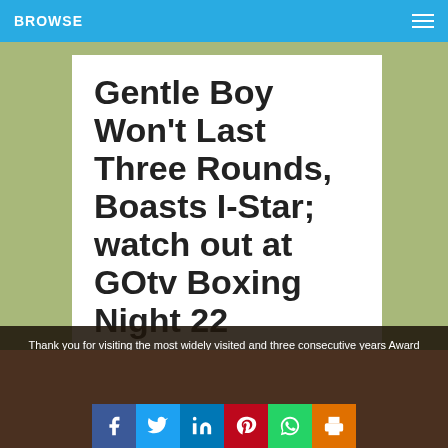BROWSE
Gentle Boy Won't Last Three Rounds, Boasts I-Star; watch out at GOtv Boxing Night 22
Thank you for visiting the most widely visited and three consecutive years Award Winner site. No site does better than your famous site, the AmehNews. Hope, you got your desire for visit? Pls, do visit again.
[Figure (other): Social share buttons row: Facebook, Twitter, LinkedIn, Pinterest, WhatsApp, Print]